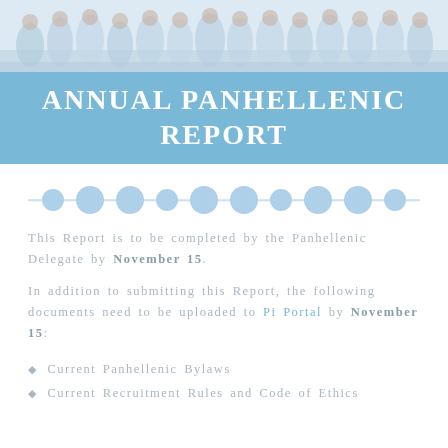[Figure (photo): Group photo of women in light-colored dresses at the top of the page]
ANNUAL PANHELLENIC REPORT
[Figure (infographic): A decorative row of light blue circles connected by a thin line, serving as a divider]
This Report is to be completed by the Panhellenic Delegate by November 15.
In addition to submitting this Report, the following documents need to be uploaded to Pi Portal by November 15:
Current Panhellenic Bylaws
Current Recruitment Rules and Code of Ethics